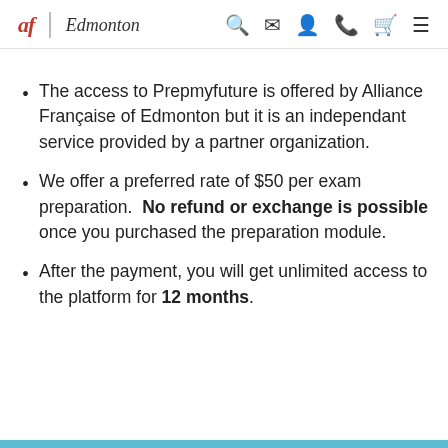af Edmonton
The access to Prepmyfuture is offered by Alliance Française of Edmonton but it is an independant service provided by a partner organization.
We offer a preferred rate of $50 per exam preparation.  No refund or exchange is possible once you purchased the preparation module.
After the payment, you will get unlimited access to the platform for 12 months.